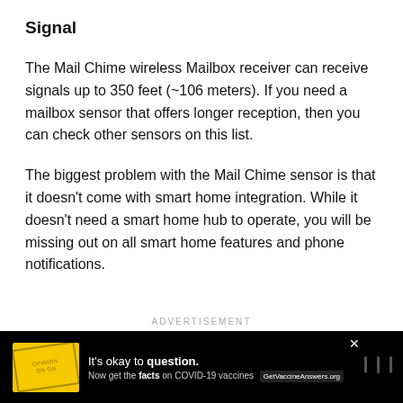Signal
The Mail Chime wireless Mailbox receiver can receive signals up to 350 feet (~106 meters). If you need a mailbox sensor that offers longer reception, then you can check other sensors on this list.
The biggest problem with the Mail Chime sensor is that it doesn't come with smart home integration. While it doesn't need a smart home hub to operate, you will be missing out on all smart home features and phone notifications.
ADVERTISEMENT
[Figure (other): Advertisement banner with yellow background showing 'It's okay to question.' text about COVID-19 vaccines with GetVaccineAnswers.org CTA]